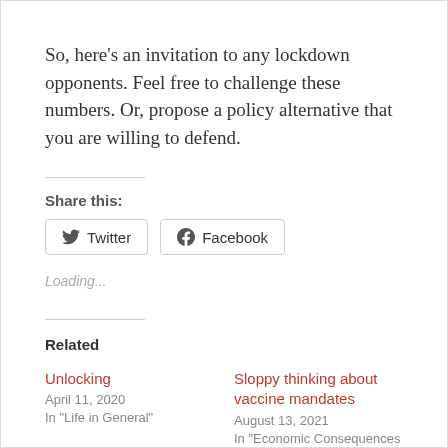So, here's an invitation to any lockdown opponents. Feel free to challenge these numbers. Or, propose a policy alternative that you are willing to defend.
Share this:
[Figure (other): Twitter and Facebook share buttons]
Loading...
Related
Unlocking
April 11, 2020
In "Life in General"
Sloppy thinking about vaccine mandates
August 13, 2021
In "Economic Consequences of the